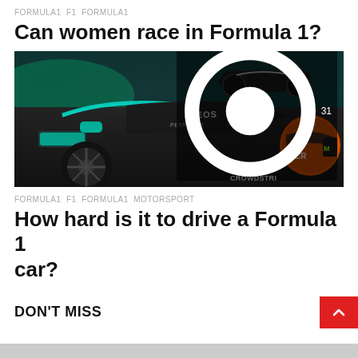FORMULA1  F1  FORMULA1
Can women race in Formula 1?
[Figure (photo): Close-up photo of a black Formula 1 car (Mercedes, with INEOS branding) on track at night, with a driver wearing an orange and black helmet visible on the right. A CrowdStrike sponsor logo is visible at the bottom right. View count of 31 shown.]
FORMULA1  F1  FORMULA1  MOTORSPORT
How hard is it to drive a Formula 1 car?
DON'T MISS